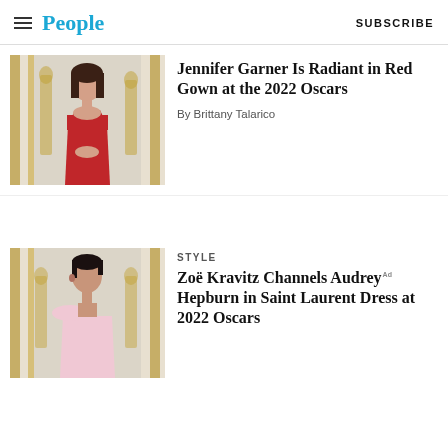People — SUBSCRIBE
[Figure (photo): Jennifer Garner in red off-shoulder gown at 2022 Oscars, standing in front of gold Oscar statues backdrop]
Jennifer Garner Is Radiant in Red Gown at the 2022 Oscars
By Brittany Talarico
STYLE
[Figure (photo): Zoë Kravitz in pale pink one-shoulder dress at 2022 Oscars, with short cropped hair]
Zoë Kravitz Channels Audrey Hepburn in Saint Laurent Dress at 2022 Oscars